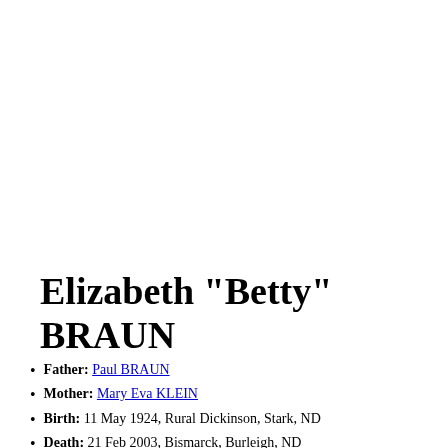Elizabeth "Betty" BRAUN
Father: Paul BRAUN
Mother: Mary Eva KLEIN
Birth: 11 May 1924, Rural Dickinson, Stark, ND
Death: 21 Feb 2003, Bismarck, Burleigh, ND
Burial: August, Rural Dickinson, ND...